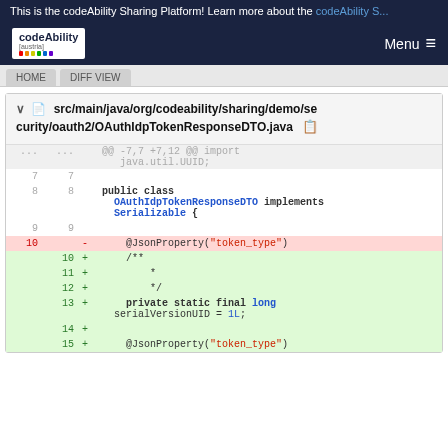This is the codeAbility Sharing Platform! Learn more about the codeAbility S...
[Figure (screenshot): Navigation bar with codeAbility [austria] logo on left and Menu hamburger icon on right, dark navy background]
[Figure (screenshot): Tab bar with two tabs partially visible]
src/main/java/org/codeability/sharing/demo/security/oauth2/OAuthIdpTokenResponseDTO.java
[Figure (screenshot): Git diff view of OAuthIdpTokenResponseDTO.java showing deleted @JsonProperty('token_type') on line 10 and added lines 10-15 with Javadoc comment, serialVersionUID field, and new @JsonProperty('token_type') annotation. Context shows public class OAuthIdpTokenResponseDTO implements Serializable {]